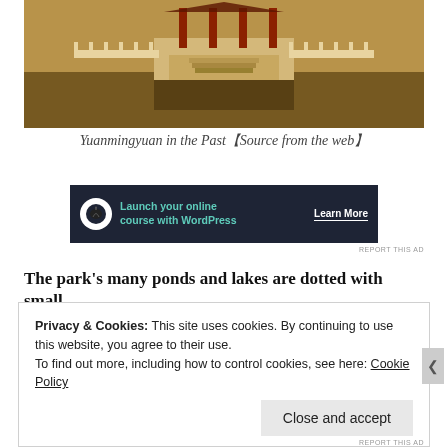[Figure (photo): Historical illustration/photo of Yuanmingyuan (Old Summer Palace) showing traditional Chinese architecture with stone bridges, balustrades, and water features in a warm golden-brown tone]
Yuanmingyuan in the Past【Source from the web】
[Figure (other): Advertisement banner: dark navy background with tree logo icon, text 'Launch your online course with WordPress' with 'Learn More' button]
REPORT THIS AD
The park's many ponds and lakes are dotted with small
Privacy & Cookies: This site uses cookies. By continuing to use this website, you agree to their use.
To find out more, including how to control cookies, see here: Cookie Policy
Close and accept
REPORT THIS AD